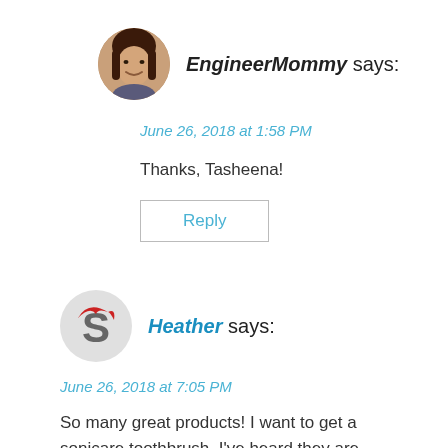[Figure (photo): Avatar photo of EngineerMommy - woman with long dark hair smiling]
EngineerMommy says:
June 26, 2018 at 1:58 PM
Thanks, Tasheena!
Reply
[Figure (logo): Gravatar S logo with red wing/hat shape]
Heather says:
June 26, 2018 at 7:05 PM
So many great products! I want to get a sonicare toothbrush. I've heard they are awesome.
Reply